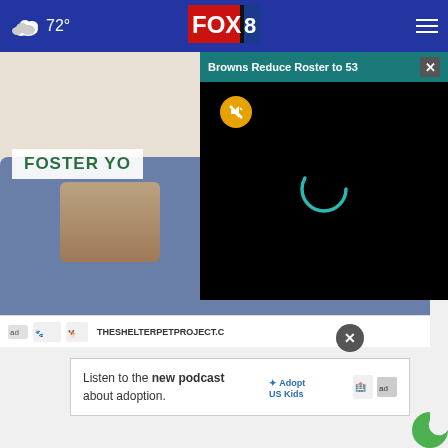[Figure (screenshot): FOX 8 news website screenshot showing navigation bar with weather (72°), FOX 8 logo, hamburger menu, a breaking news video popup for 'Browns Reduce Roster to 53', a Shelter Pet Project advertisement showing a man playing guitar with a cat with text 'FOSTER YO' and '#AdoptPureLove', a podcast advertisement 'Listen to the new podcast about adoption.' with Adopt US Kids logo, and 'AROUND THE WEB' section header.]